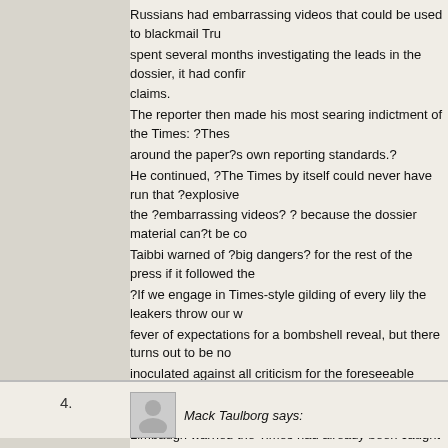Russians had embarrassing videos that could be used to blackmail Tru... spent several months investigating the leads in the dossier, it had confir... claims. The reporter then made his most searing indictment of the Times: ?Thes... around the paper?s own reporting standards.? He continued, ?The Times by itself could never have run that ?explosive... the ?embarrassing videos? ? because the dossier material can?t be co... Taibbi warned of ?big dangers? for the rest of the press if it followed the... ?If we engage in Times-style gilding of every lily the leakers throw our w... fever of expectations for a bombshell reveal, but there turns out to be no... inoculated against all criticism for the foreseeable future.? ?You?re setting yourselves up for a big fail? Limbaugh warned the Times had already been caught in its own trap. A... worse. He said ?the whole Russians-stole-the-election theme is gone.? Limbaugh described Taibbi as an ?extreme liberal,? whose story was a... you better be careful here, because you might get what you want, whic... you?ve been doing.? ?He?s warning them to walk this back and stop reporting on this with al... you?re setting yourselves up for a big fail.?
Mack Taulborg says: